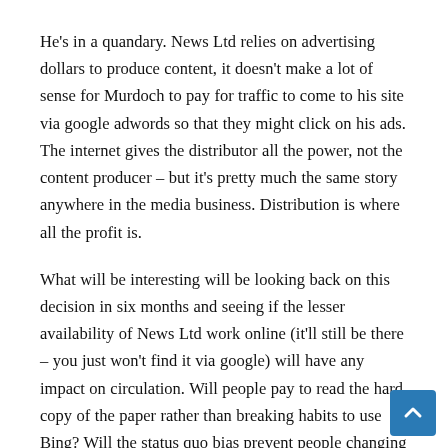He's in a quandary. News Ltd relies on advertising dollars to produce content, it doesn't make a lot of sense for Murdoch to pay for traffic to come to his site via google adwords so that they might click on his ads. The internet gives the distributor all the power, not the content producer – but it's pretty much the same story anywhere in the media business. Distribution is where all the profit is.
What will be interesting will be looking back on this decision in six months and seeing if the lesser availability of News Ltd work online (it'll still be there – you just won't find it via google) will have any impact on circulation. Will people pay to read the hard copy of the paper rather than breaking habits to use Bing? Will the status quo bias prevent people changing their online habits?
Much vaunted internet marketing guru Seth Godin has